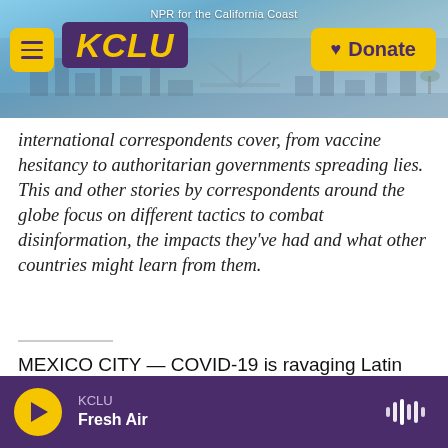[Figure (screenshot): KCLU NPR station website header with logo, hamburger menu, donate button, and coastal city background photo]
international correspondents cover, from vaccine hesitancy to authoritarian governments spreading lies. This and other stories by correspondents around the globe focus on different tactics to combat disinformation, the impacts they've had and what other countries might learn from them.
MEXICO CITY — COVID-19 is ravaging Latin America, but one country, Nicaragua, insists it's tackling the pandemic better than any of its neighbors.
KCLU Fresh Air